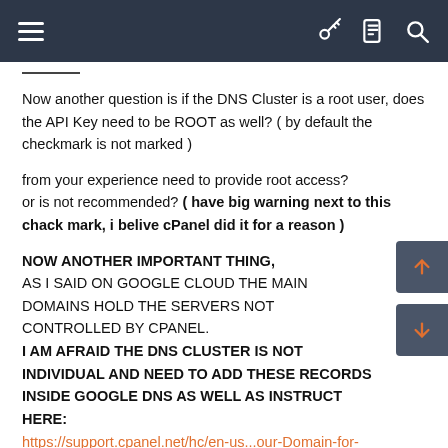Navigation bar with hamburger menu, key, document, and search icons
Now another question is if the DNS Cluster is a root user, does the API Key need to be ROOT as well? ( by default the checkmark is not marked )
from your experience need to provide root access?
or is not recommended? ( have big warning next to this chack mark, i belive cPanel did it for a reason )
NOW ANOTHER IMPORTANT THING,
AS I SAID ON GOOGLE CLOUD THE MAIN DOMAINS HOLD THE SERVERS NOT CONTROLLED BY CPANEL.
I AM AFRAID THE DNS CLUSTER IS NOT INDIVIDUAL AND NEED TO ADD THESE RECORDS INSIDE GOOGLE DNS AS WELL AS INSTRUCT HERE:
https://support.cpanel.net/hc/en-us...our-Domain-for-Use-With-Google-Compute-Engine
You must tell me if this doc's eligible on DNS Cluster as well, and need to add the new zones in each server inside Google Cloud